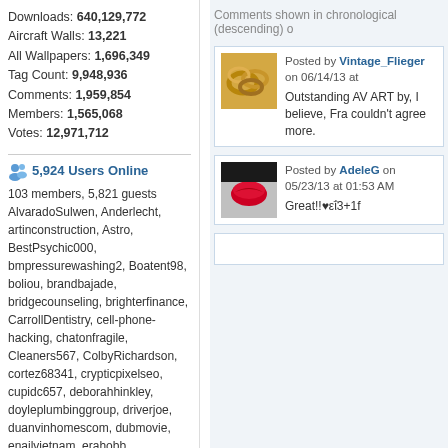Downloads: 640,129,772
Aircraft Walls: 13,221
All Wallpapers: 1,696,349
Tag Count: 9,948,936
Comments: 1,959,854
Members: 1,565,068
Votes: 12,971,712
5,924 Users Online
103 members, 5,821 guests
AlvaradoSulwen, Anderlecht, artinconstruction, Astro, BestPsychic000, bmpressurewashing2, Boatent98, boliou, brandbajade, bridgecounseling, brighterfinance, CarrollDentistry, cell-phone-hacking, chatonfragile, Cleaners567, ColbyRichardson, cortez68341, crypticpixelseo, cupidc657, deborahhinkley, doyleplumbinggroup, driverjoe, duanvinhomescom, dubmovie, enailvietnam, erahobb, Francisco47, GeorgePaterson, Gibsonfan, gotrup, guybishop3, hevenpainrelief, Iamgroottt616, ianbose22, ikcinbots, infognana, Installationvinyl11, jasonguck, JokersStash, josephfirarae, jun8888, KayaXu8, khungnhomkinhvietphon..., kinggohan, Lalina, Lamamake, leonbetappin, lertuiosq, lilla811, lirikmerch, maayash, maothanhvu, marquisharkley,
Comments shown in chronological (descending) o
Posted by Vintage_Flieger on 06/14/13 at
Outstanding AV ART by, I believe, Fra couldn't agree more.
Posted by AdeleG on 05/23/13 at 01:53 AM
Great!!♥εΐ3+1f